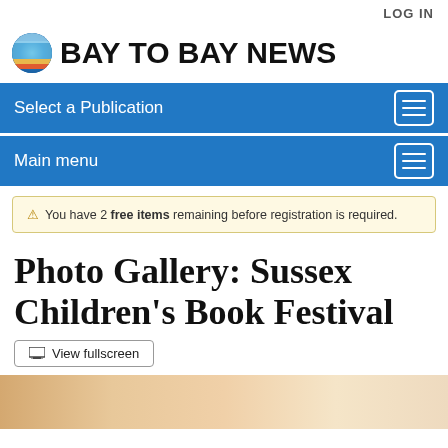LOG IN
[Figure (logo): Bay to Bay News logo with colorful circular icon and bold text]
Select a Publication
Main menu
You have 2 free items remaining before registration is required.
Photo Gallery: Sussex Children's Book Festival
View fullscreen
[Figure (photo): Partial view of a photo from the Sussex Children's Book Festival]